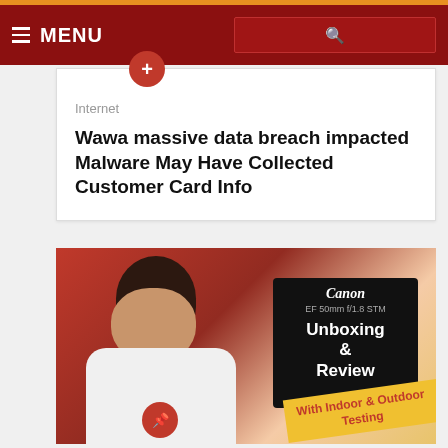MENU
Internet
Wawa massive data breach impacted Malware May Have Collected Customer Card Info
[Figure (photo): Person holding a Canon EF 50mm f/1.8 STM lens box with Unboxing & Review overlay and yellow banner reading With Indoor & Outdoor Testing]